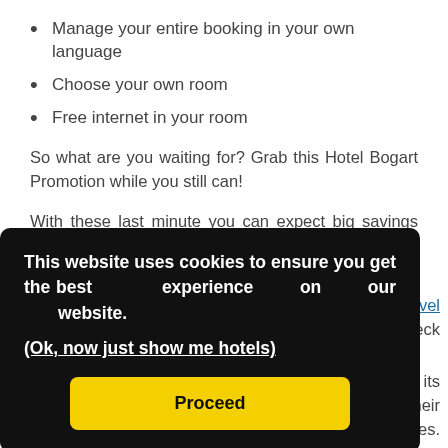Manage your entire booking in your own language
Choose your own room
Free internet in your room
So what are you waiting for? Grab this Hotel Bogart Promotion while you still can!
With these last minute you can expect big savings up to 50% off the normal price. So what are you waiting for? Grab these Hotel Bogart Promotion before someone else does! These Hotel Bogart Promotion is updated daily and available
Travel
Check
all its
k their
ences.
This website uses cookies to ensure you get the best experience on our website. (Ok, now just show me hotels)
Proceed
Over 1,200 people enjoy working with us, and contribute to